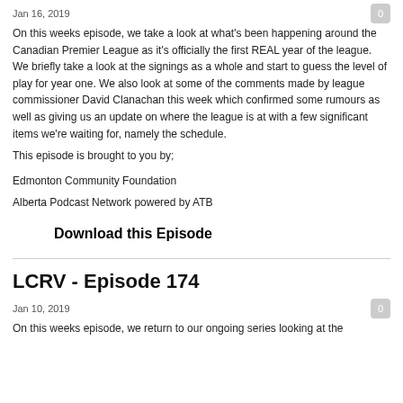Jan 16, 2019
On this weeks episode, we take a look at what's been happening around the Canadian Premier League as it's officially the first REAL year of the league. We briefly take a look at the signings as a whole and start to guess the level of play for year one. We also look at some of the comments made by league commissioner David Clanachan this week which confirmed some rumours as well as giving us an update on where the league is at with a few significant items we're waiting for, namely the schedule.
This episode is brought to you by;
Edmonton Community Foundation
Alberta Podcast Network powered by ATB
Download this Episode
LCRV - Episode 174
Jan 10, 2019
On this weeks episode, we return to our ongoing series looking at the